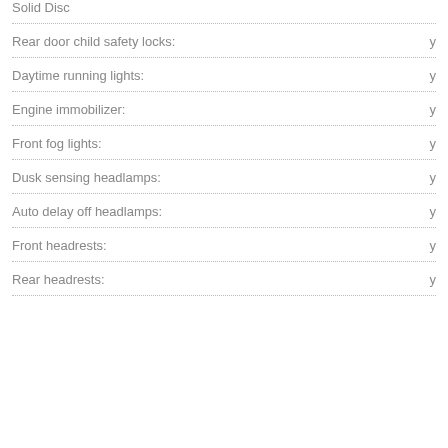Solid Disc
Rear door child safety locks: y
Daytime running lights: y
Engine immobilizer: y
Front fog lights: y
Dusk sensing headlamps: y
Auto delay off headlamps: y
Front headrests: y
Rear headrests: y